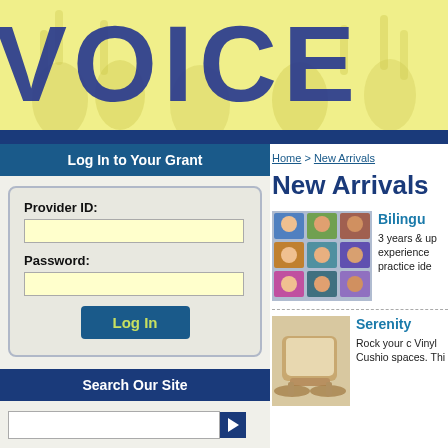VOICE
Log In to Your Grant
Provider ID:
Password:
Log In
Search Our Site
Product Categories
Home > New Arrivals
New Arrivals
Bilingu
3 years & up experience practice ide
Serenity
Rock your c Vinyl Cushio spaces. Thi